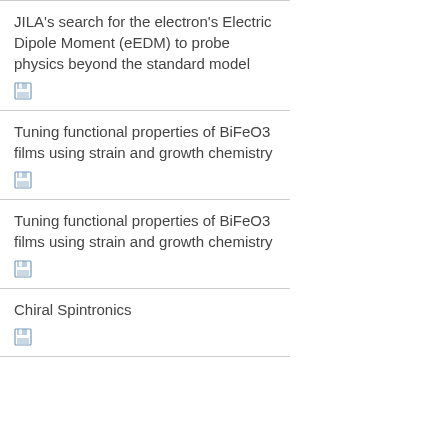JILA's search for the electron's Electric Dipole Moment (eEDM) to probe physics beyond the standard model
Tuning functional properties of BiFeO3 films using strain and growth chemistry
Tuning functional properties of BiFeO3 films using strain and growth chemistry
Chiral Spintronics